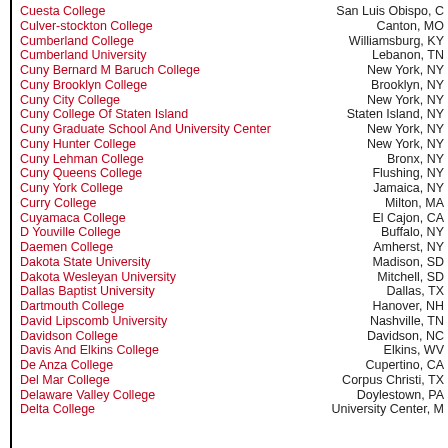Cuesta College — San Luis Obispo, CA
Culver-stockton College — Canton, MO
Cumberland College — Williamsburg, KY
Cumberland University — Lebanon, TN
Cuny Bernard M Baruch College — New York, NY
Cuny Brooklyn College — Brooklyn, NY
Cuny City College — New York, NY
Cuny College Of Staten Island — Staten Island, NY
Cuny Graduate School And University Center — New York, NY
Cuny Hunter College — New York, NY
Cuny Lehman College — Bronx, NY
Cuny Queens College — Flushing, NY
Cuny York College — Jamaica, NY
Curry College — Milton, MA
Cuyamaca College — El Cajon, CA
D Youville College — Buffalo, NY
Daemen College — Amherst, NY
Dakota State University — Madison, SD
Dakota Wesleyan University — Mitchell, SD
Dallas Baptist University — Dallas, TX
Dartmouth College — Hanover, NH
David Lipscomb University — Nashville, TN
Davidson College — Davidson, NC
Davis And Elkins College — Elkins, WV
De Anza College — Cupertino, CA
Del Mar College — Corpus Christi, TX
Delaware Valley College — Doylestown, PA
Delta College — University Center, MI